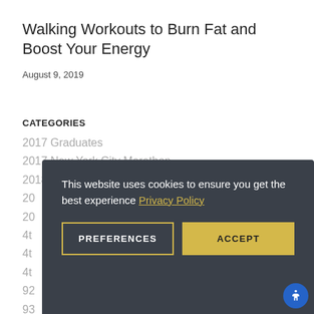Walking Workouts to Burn Fat and Boost Your Energy
August 9, 2019
CATEGORIES
2017 Graduates
2017 New York City Marathon
2018 Lose Weight
20[partially hidden]
20[partially hidden]
4t[partially hidden]
4t[partially hidden]
4t[partially hidden]
92[partially hidden]
93[partially hidden]
Accurate Golf Watch
This website uses cookies to ensure you get the best experience Privacy Policy
PREFERENCES
ACCEPT